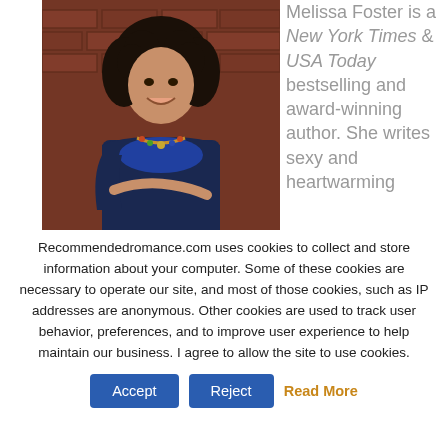[Figure (photo): Author photo of Melissa Foster, a woman with long curly dark hair, smiling, wearing a blue top and colorful necklace, leaning against a brick wall background.]
Melissa Foster is a New York Times & USA Today bestselling and award-winning author. She writes sexy and heartwarming
Recommendedromance.com uses cookies to collect and store information about your computer. Some of these cookies are necessary to operate our site, and most of those cookies, such as IP addresses are anonymous. Other cookies are used to track user behavior, preferences, and to improve user experience to help maintain our business. I agree to allow the site to use cookies.